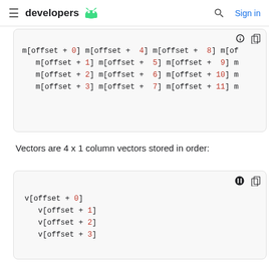developers [android logo] Sign in
[Figure (screenshot): Code block showing matrix m[] offset notation partially visible, rows 0-3 with columns offset+0 through offset+11+]
Vectors are 4 x 1 column vectors stored in order:
[Figure (screenshot): Code block showing vector v[] offset notation: v[offset + 0], v[offset + 1], v[offset + 2], v[offset + 3]]